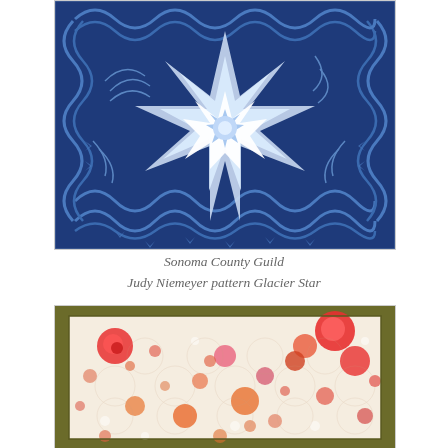[Figure (photo): Blue and white star quilt with intricate Glacier Star pattern featuring a central eight-pointed star surrounded by swirling feather-like motifs on a deep blue background]
Sonoma County Guild
Judy Niemeyer pattern Glacier Star
[Figure (photo): Floral quilt with red, orange, pink, and white flower patterns on cream background with an olive/moss green border]